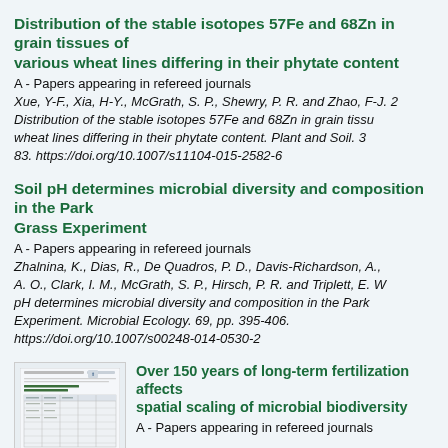Distribution of the stable isotopes 57Fe and 68Zn in grain tissues of various wheat lines differing in their phytate content
A - Papers appearing in refereed journals
Xue, Y-F., Xia, H-Y., McGrath, S. P., Shewry, P. R. and Zhao, F-J. 2... Distribution of the stable isotopes 57Fe and 68Zn in grain tissu... wheat lines differing in their phytate content. Plant and Soil. 3... 83. https://doi.org/10.1007/s11104-015-2582-6
Soil pH determines microbial diversity and composition in the Park Grass Experiment
A - Papers appearing in refereed journals
Zhalnina, K., Dias, R., De Quadros, P. D., Davis-Richardson, A., ... A. O., Clark, I. M., McGrath, S. P., Hirsch, P. R. and Triplett, E. W... pH determines microbial diversity and composition in the Park Grass Experiment. Microbial Ecology. 69, pp. 395-406. https://doi.org/10.1007/s00248-014-0530-2
[Figure (screenshot): Thumbnail image of a journal article page showing a table and document layout]
Over 150 years of long-term fertilization affects spatial scaling of microbial biodiversity
A - Papers appearing in refereed journals